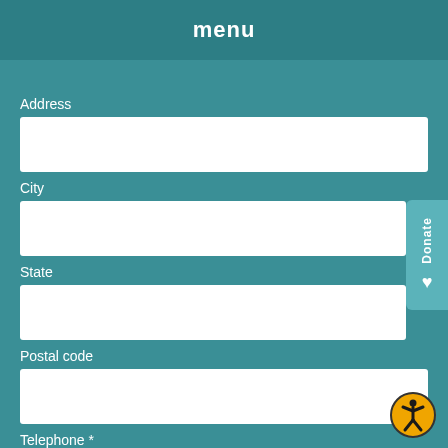menu
Address
[Figure (other): Empty text input field for Address]
City
[Figure (other): Empty text input field for City]
State
[Figure (other): Empty text input field for State]
Postal code
[Figure (other): Empty text input field for Postal code]
Telephone *
[Figure (other): Empty text input field for Telephone]